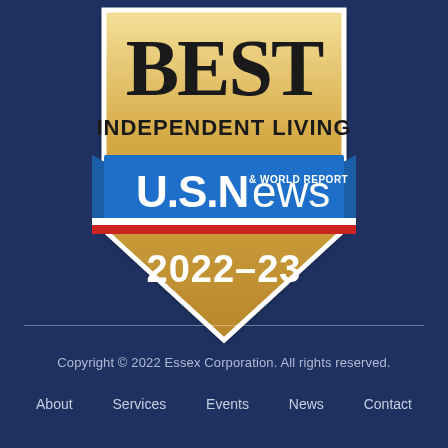[Figure (logo): U.S. News & World Report Best Independent Living 2022-23 badge/shield. Gold shield shape with 'BEST INDEPENDENT LIVING' text at top, blue ribbon banner with 'U.S.News & World Report' logo, red stripe, and '2022-23' year text at bottom.]
Copyright © 2022 Essex Corporation. All rights reserved.
About   Services   Events   News   Contact